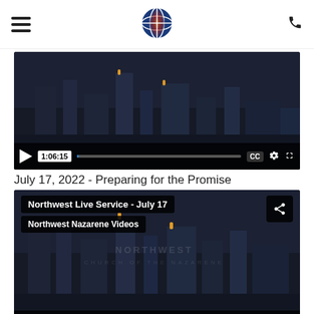Northwest Church of the Nazarene website header with hamburger menu, globe logo, and phone icon
[Figure (screenshot): Video player showing city skyline at night, duration 1:06:15, with play button, progress bar, CC, gear, and fullscreen icons]
July 17, 2022 - Preparing for the Promise
[Figure (screenshot): Video player for Northwest Live Service - July 17, showing Northwest Nazarene Videos channel, city skyline at night, duration 55:55, with play button, progress bar, CC, gear, and fullscreen icons]
July 10, 2022 - Is It Enough?